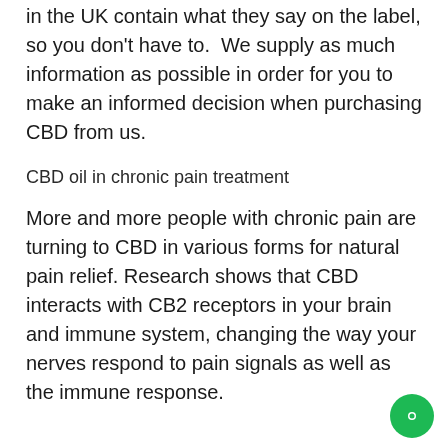in the UK contain what they say on the label, so you don't have to.  We supply as much information as possible in order for you to make an informed decision when purchasing CBD from us.
CBD oil in chronic pain treatment
More and more people with chronic pain are turning to CBD in various forms for natural pain relief. Research shows that CBD interacts with CB2 receptors in your brain and immune system, changing the way your nerves respond to pain signals as well as the immune response.